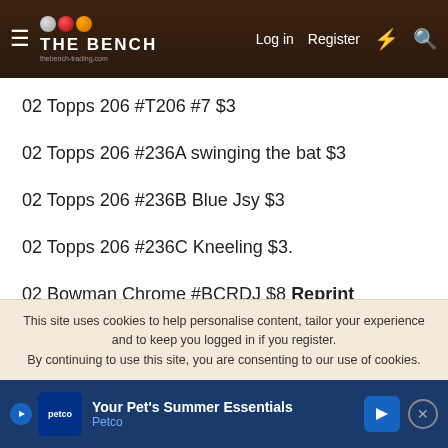THE BENCH — Log in | Register
02 Topps 206 #T206 #7 $3
02 Topps 206 #236A swinging the bat $3
02 Topps 206 #236B Blue Jsy $3
02 Topps 206 #236C Kneeling $3.
02 Bowman Chrome #BCRDJ $8 Reprint
02 EX Hit and Run #2 $10
02 Fleer Platinum Wheelhouse #1 $8
This site uses cookies to help personalise content, tailor your experience and to keep you logged in if you register. By continuing to use this site, you are consenting to our use of cookies.
[Figure (screenshot): Petco advertisement banner: Your Pet's Summer Essentials]